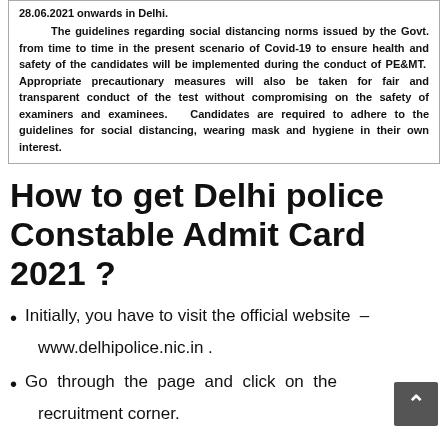28.06.2021 onwards in Delhi.
The guidelines regarding social distancing norms issued by the Govt. from time to time in the present scenario of Covid-19 to ensure health and safety of the candidates will be implemented during the conduct of PE&MT. Appropriate precautionary measures will also be taken for fair and transparent conduct of the test without compromising on the safety of examiners and examinees. Candidates are required to adhere to the guidelines for social distancing, wearing mask and hygiene in their own interest.
How to get Delhi police Constable Admit Card 2021 ?
Initially, you have to visit the official website – www.delhipolice.nic.in .
Go through the page and click on the recruitment corner.